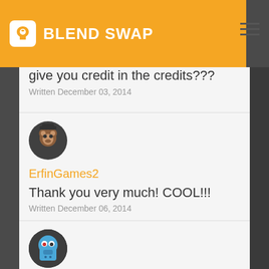BLEND SWAP
give you credit in the credits???
Written December 03, 2014
[Figure (photo): User avatar: dark circle with orange/brown character (FNAF style)]
ErfinGames2
Thank you very much! COOL!!!
Written December 06, 2014
[Figure (photo): User avatar: dark circle with blue robot/character]
jennifer081321
How glue the tongue??
Written October 12, 2015
[Figure (photo): User avatar: dark circle with red character, partially visible]